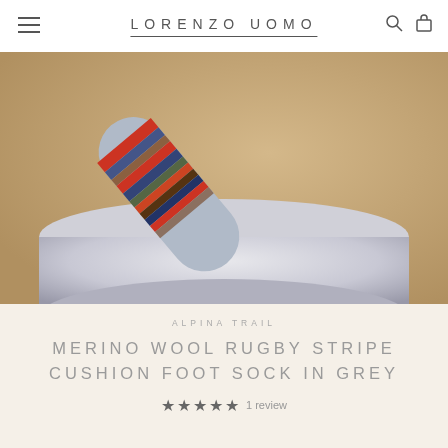LORENZO UOMO
[Figure (photo): A grey merino wool rugby stripe sock displayed on a white cylindrical pedestal against a tan/kraft paper background. The sock is tilted at an angle showing multicolored stripes in red, blue, brown, and orange tones.]
ALPINA TRAIL
MERINO WOOL RUGBY STRIPE CUSHION FOOT SOCK IN GREY
★★★★★ 1 review